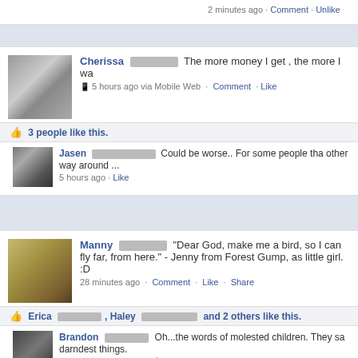2 minutes ago · Comment · Unlike
Cherissa [redacted] The more money I get , the more I wa
5 hours ago via Mobile Web · Comment · Like
3 people like this.
Jasen [redacted] Could be worse.. For some people tha other way around ...
5 hours ago · Like
Manny [redacted] "Dear God, make me a bird, so I can fly far, from here." - Jenny from Forest Gump, as little girl. :D
28 minutes ago · Comment · Like · Share
Erica [redacted] , Haley [redacted] and 2 others like this.
Brandon [redacted] Oh...the words of molested children. They sa darndest things.
27 minutes ago · Like · 1 person